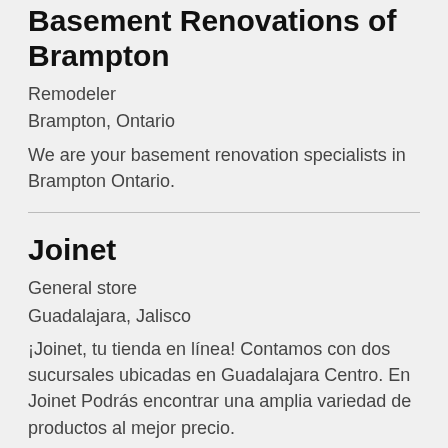Basement Renovations of Brampton
Remodeler
Brampton, Ontario
We are your basement renovation specialists in Brampton Ontario.
Joinet
General store
Guadalajara, Jalisco
¡Joinet, tu tienda en línea! Contamos con dos sucursales ubicadas en Guadalajara Centro. En Joinet Podrás encontrar una amplia variedad de productos al mejor precio.